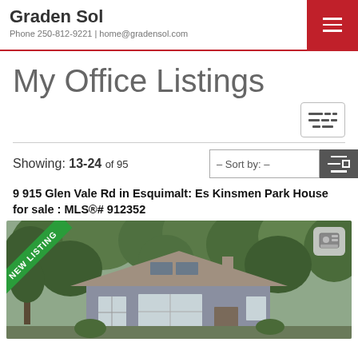Graden Sol
Phone 250-812-9221 | home@gradensol.com
My Office Listings
Showing: 13-24 of 95
– Sort by: –
9 915 Glen Vale Rd in Esquimalt: Es Kinsmen Park House for sale : MLS®# 912352
[Figure (photo): Exterior photo of a house at 9 915 Glen Vale Rd in Esquimalt with a green 'NEW LISTING' ribbon banner in the upper left corner, surrounded by trees]